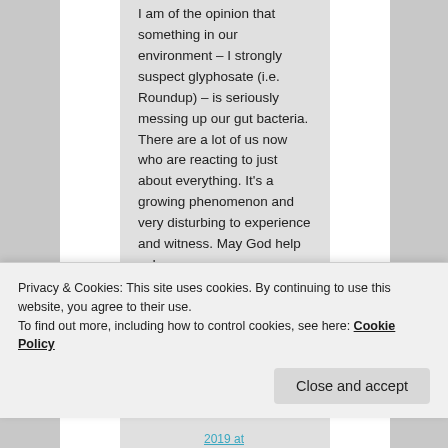I am of the opinion that something in our environment – I strongly suspect glyphosate (i.e. Roundup) – is seriously messing up our gut bacteria. There are a lot of us now who are reacting to just about everything. It's a growing phenomenon and very disturbing to experience and witness. May God help us!
★ Like
Privacy & Cookies: This site uses cookies. By continuing to use this website, you agree to their use.
To find out more, including how to control cookies, see here: Cookie Policy
Close and accept